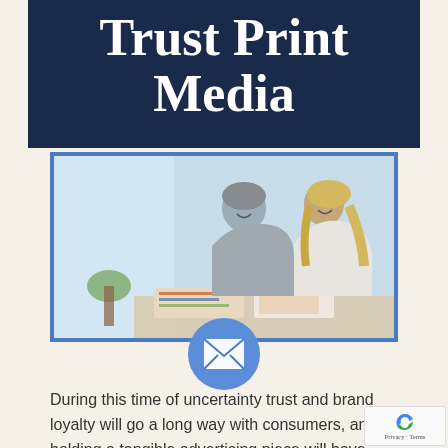Trust Print Media
[Figure (photo): A man and woman smiling and looking down at printed media/magazines on a table together, in a bright room with plants visible in the background.]
[Figure (illustration): A blue circle with a white envelope/mail icon inside it.]
During this time of uncertainty trust and brand loyalty will go a long way with consumers, and holding a tangible advertising piece will have more weight than an email or a digital ad then just the